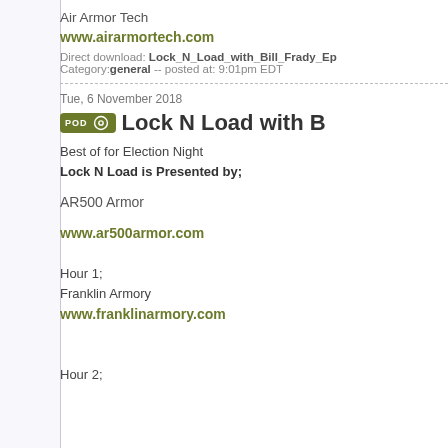Air Armor Tech
www.airarmortech.com
Direct download: Lock_N_Load_with_Bill_Frady_Ep
Category:general -- posted at: 9:01pm EDT
Tue, 6 November 2018
Lock N Load with B
Best of for Election Night
Lock N Load is Presented by;
AR500 Armor
www.ar500armor.com
Hour 1;
Franklin Armory
www.franklinarmory.com
Hour 2;